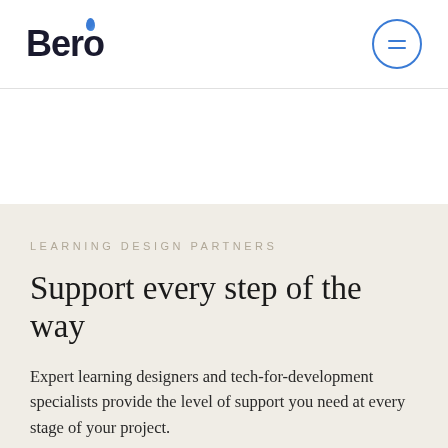Bero
LEARNING DESIGN PARTNERS
Support every step of the way
Expert learning designers and tech-for-development specialists provide the level of support you need at every stage of your project.